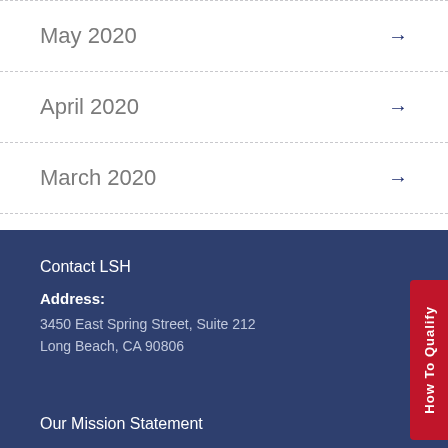May 2020
April 2020
March 2020
Contact LSH
Address: 3450 East Spring Street, Suite 212 Long Beach, CA 90806
How To Qualify
Our Mission Statement